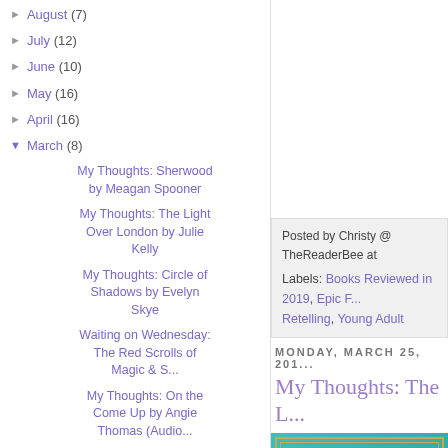► August (7)
► July (12)
► June (10)
► May (16)
► April (16)
▼ March (8)
My Thoughts: Sherwood by Meagan Spooner
My Thoughts: The Light Over London by Julie Kelly
My Thoughts: Circle of Shadows by Evelyn Skye
Waiting on Wednesday: The Red Scrolls of Magic & S...
My Thoughts: On the Come Up by Angie Thomas (Audio...
My Thoughts: Courting Darkness by Robin LaFever
Posted by Christy @ TheReaderBee at
Labels: Books Reviewed in 2019, Epic [Fantasy], Retelling, Young Adult
MONDAY, MARCH 25, 201...
My Thoughts: The L...
[Figure (photo): Book cover of 'The Light Over London' showing a teal/turquoise background with gold decorative border, white cursive title text, and a quote at the top]